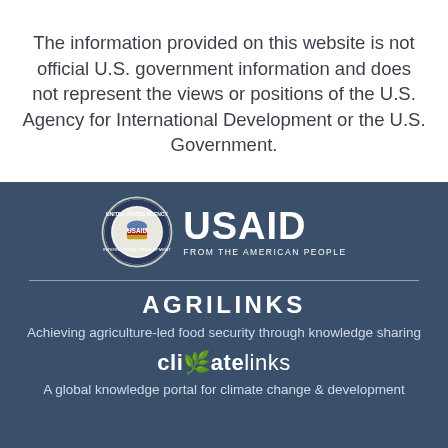The information provided on this website is not official U.S. government information and does not represent the views or positions of the U.S. Agency for International Development or the U.S. Government.
[Figure (logo): USAID logo with circular seal on the left and 'USAID FROM THE AMERICAN PEOPLE' text on the right, on a dark navy background]
AGRILINKS
Achieving agriculture-led food security through knowledge sharing
climatelinks
A global knowledge portal for climate change & development